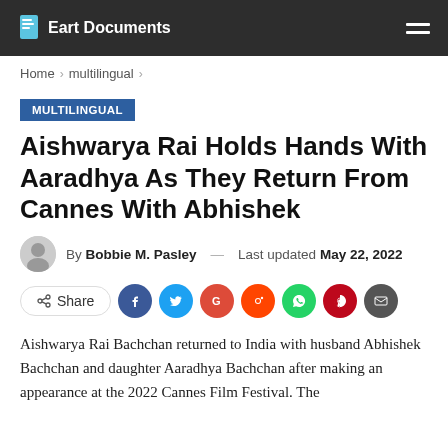Eart Documents
Home > multilingual >
MULTILINGUAL
Aishwarya Rai Holds Hands With Aaradhya As They Return From Cannes With Abhishek
By Bobbie M. Pasley — Last updated May 22, 2022
[Figure (infographic): Social share buttons: Share, Facebook, Twitter, Google, Reddit, WhatsApp, Pinterest, Email]
Aishwarya Rai Bachchan returned to India with husband Abhishek Bachchan and daughter Aaradhya Bachchan after making an appearance at the 2022 Cannes Film Festival. The